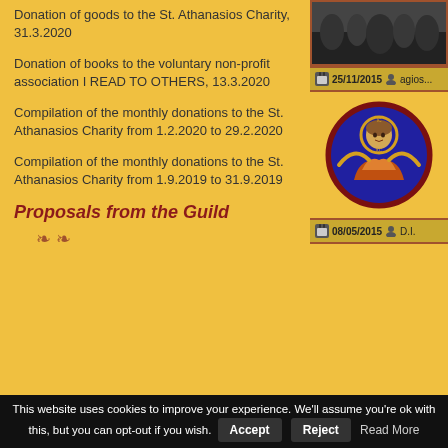Donation of goods to the St. Athanasios Charity, 31.3.2020
Donation of books to the voluntary non-profit association I READ TO OTHERS, 13.3.2020
Compilation of the monthly donations to the St. Athanasios Charity from 1.2.2020 to 29.2.2020
Compilation of the monthly donations to the St. Athanasios Charity from 1.9.2019 to 31.9.2019
[Figure (photo): Choir or group photo at top right]
25/11/2015   agios...
[Figure (illustration): Angel icon — circular orthodox illustration of an angel in red/orange robes on blue/gold background]
08/05/2015   D.I.
Proposals from the Guild
This website uses cookies to improve your experience. We'll assume you're ok with this, but you can opt-out if you wish. Accept Reject Read More